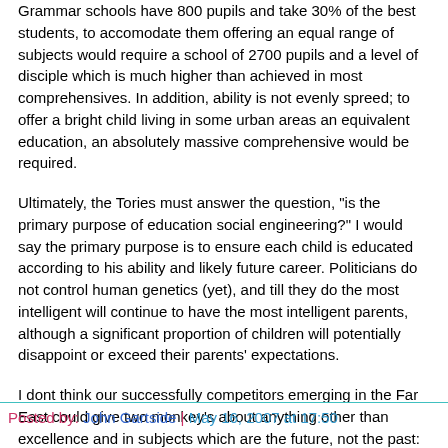Grammar schools have 800 pupils and take 30% of the best students, to accomodate them offering an equal range of subjects would require a school of 2700 pupils and a level of disciple which is much higher than achieved in most comprehensives. In addition, ability is not evenly spreed; to offer a bright child living in some urban areas an equivalent education, an absolutely massive comprehensive would be required.
Ultimately, the Tories must answer the question, "is the primary purpose of education social engineering?" I would say the primary purpose is to ensure each child is educated according to his ability and likely future career. Politicians do not control human genetics (yet), and till they do the most intelligent will continue to have the most intelligent parents, although a significant proportion of children will potentially disappoint or exceed their parents' expectations.
I dont think our successfully competitors emerging in the Far East could give two monkey's about anything other than excellence and in subjects which are the future, not the past: maths, science, engineering.
So ultimately it boils down to logistics, not wishful thinking or playing to the gallery. If we dont focus on the brightest, we will become a third world country by default.
Posted by: John Gartside | May 16, 2007 at 17:50